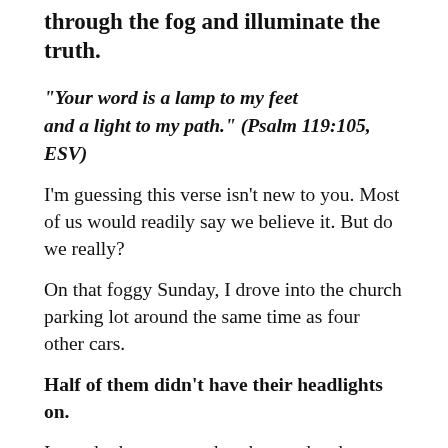through the fog and illuminate the truth.
“Your word is a lamp to my feet and a light to my path.” (Psalm 119:105, ESV)
I’m guessing this verse isn’t new to you. Most of us would readily say we believe it. But do we really?
On that foggy Sunday, I drove into the church parking lot around the same time as four other cars.
Half of them didn’t have their headlights on.
I wonder how many church attenders have forgotten to turn on their spiritual headlights. How many of us say we’re following Jesus but only read His Word once or twice a week? Are we…